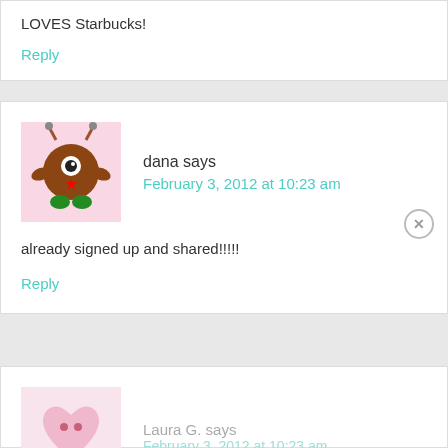LOVES Starbucks!
Reply
dana says
February 3, 2012 at 10:23 am
[Figure (illustration): Monster avatar cartoon illustration with antennae, one eye, and green feet on pink background]
already signed up and shared!!!!!
Reply
[Figure (illustration): Heart-shaped character avatar on pink background for Laura G.]
Laura G. says
February 3, 2012 at 10:23 am